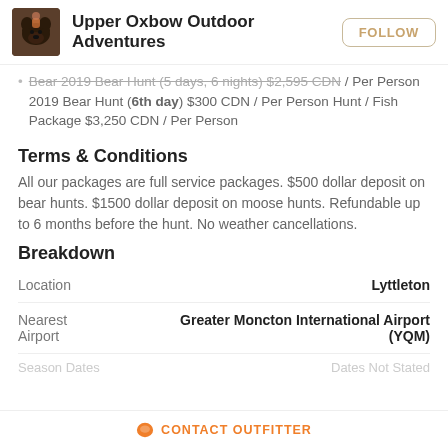Upper Oxbow Outdoor Adventures
Bear 2019 Bear Hunt (5 days, 6 nights) $2,595 CDN / Per Person 2019 Bear Hunt (6th day) $300 CDN / Per Person Hunt / Fish Package $3,250 CDN / Per Person
Terms & Conditions
All our packages are full service packages. $500 dollar deposit on bear hunts. $1500 dollar deposit on moose hunts. Refundable up to 6 months before the hunt. No weather cancellations.
Breakdown
|  |  |
| --- | --- |
| Location | Lyttleton |
| Nearest Airport | Greater Moncton International Airport (YQM) |
CONTACT OUTFITTER